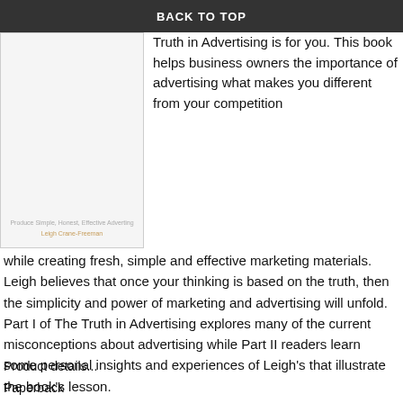BACK TO TOP
[Figure (illustration): Book cover thumbnail showing 'Produce Simple, Honest, Effective Advertising' with author name Leigh Crane-Freeman]
Truth in Advertising is for you. This book helps business owners the importance of advertising what makes you different from your competition while creating fresh, simple and effective marketing materials. Leigh believes that once your thinking is based on the truth, then the simplicity and power of marketing and advertising will unfold. Part I of The Truth in Advertising explores many of the current misconceptions about advertising while Part II readers learn some personal insights and experiences of Leigh's that illustrate the book's lesson.
Product details...
Paperback
5 x 8 paperback cream, 126 pages
Publisher: Outskirts Press (Sept 5, 2009)